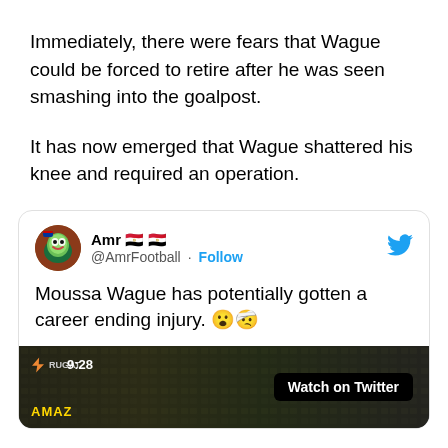Immediately, there were fears that Wague could be forced to retire after he was seen smashing into the goalpost.
It has now emerged that Wague shattered his knee and required an operation.
[Figure (screenshot): Embedded tweet from @AmrFootball with text: 'Moussa Wague has potentially gotten a career ending injury. 😮🤕' and a video thumbnail showing a football stadium with 'Watch on Twitter' overlay.]